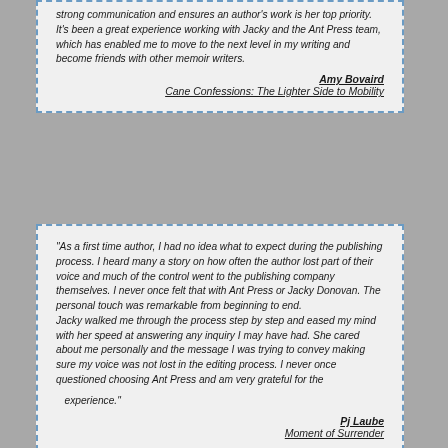strong communication and ensures an author's work is her top priority. It's been a great experience working with Jacky and the Ant Press team, which has enabled me to move to the next level in my writing and become friends with other memoir writers.
Amy Bovaird
Cane Confessions: The Lighter Side to Mobility
"As a first time author, I had no idea what to expect during the publishing process. I heard many a story on how often the author lost part of their voice and much of the control went to the publishing company themselves. I never once felt that with Ant Press or Jacky Donovan. The personal touch was remarkable from beginning to end.
Jacky walked me through the process step by step and eased my mind with her speed at answering any inquiry I may have had. She cared about me personally and the message I was trying to convey making sure my voice was not lost in the editing process. I never once questioned choosing Ant Press and am very grateful for the experience."
Pj Laube
Moment of Surrender
"As a first time author who thought a book was done when the last word of the draft was typed, I am very grateful to Ant Press and my editor Jacky Donovan for helping and mentoring me through the daunting challenges of editing, cover design, publishing, and publicity. I felt that my editor cared about me personally, and my book's message, as she professionally guided me through the journey and mentored me towards becoming a better writer.